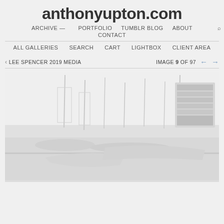anthonyupton.com
ARCHIVE — PORTFOLIO TUMBLR BLOG ABOUT CONTACT
ALL GALLERIES SEARCH CART LIGHTBOX CLIENT AREA
< LEE SPENCER 2019 MEDIA   IMAGE 9 OF 97
[Figure (photo): A marina/sailing event scene, very washed out/overexposed, showing boats and a signboard, taken at a sailing venue]